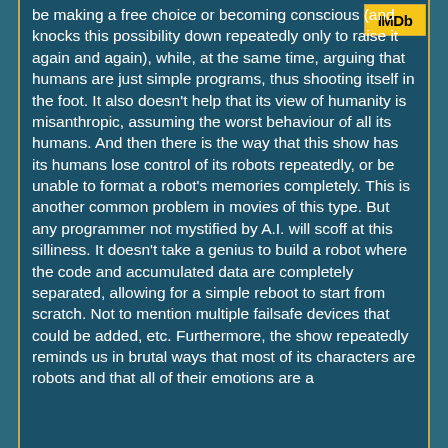[Figure (logo): IMDb logo - yellow rectangle with bold black IMDb text]
be making a free choice or becoming conscious (and knocks this possibility down repeatedly only to raise it again and again), while, at the same time, arguing that humans are just simple programs, thus shooting itself in the foot. It also doesn't help that its view of humanity is misanthropic, assuming the worst behaviour of all its humans. And then there is the way that this show has its humans lose control of its robots repeatedly, or be unable to format a robot's memories completely. This is another common problem in movies of this type. But any programmer not mystified by A.I. will scoff at this silliness. It doesn't take a genius to build a robot where the code and accumulated data are completely separated, allowing for a simple reboot to start from scratch. Not to mention multiple failsafe devices that could be added, etc. Furthermore, the show repeatedly reminds us in brutal ways that most of its characters are robots and that all of their emotions are a